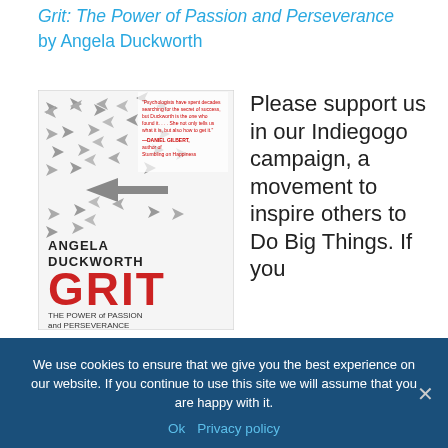Grit: The Power of Passion and Perseverance by Angela Duckworth
[Figure (illustration): Book cover of 'Grit: The Power of Passion and Perseverance' by Angela Duckworth, showing a pattern of grey arrows mostly pointing left with some pointing right, the word GRIT in large red text, and subtitle 'THE POWER of PASSION and PERSEVERANCE']
Please support us in our Indiegogo campaign, a movement to inspire others to Do Big Things. If you
We use cookies to ensure that we give you the best experience on our website. If you continue to use this site we will assume that you are happy with it.
Ok   Privacy policy